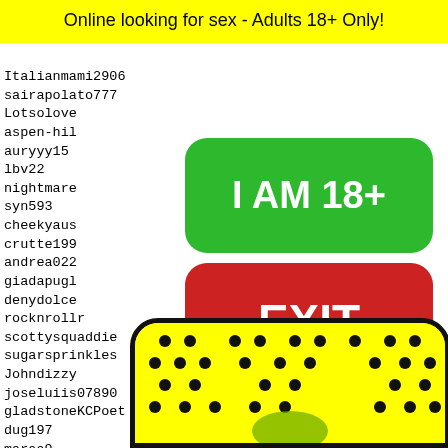Online looking for sex - Adults 18+ Only!
Italianmami2906
sairapolato777
Lotsolove
aspen-hil
auryyy15
lbv22
nightmare
syn593
cheekyaus
crutte199
andrea022
giadapugl
denydolce
rocknrollr
scottysquaddie
sugarsprinkles
Johndizzy
joseluiis07890
gladstoneKCPoet
dug197
maraa9
716sal
babygi
Trini4
ilenia
[Figure (other): Green button saying I AM 18+]
[Figure (other): Red button saying EXIT]
19388 19389 19390 19391 19392
[Figure (illustration): Yellow background with black dots pattern and emoji face at bottom]